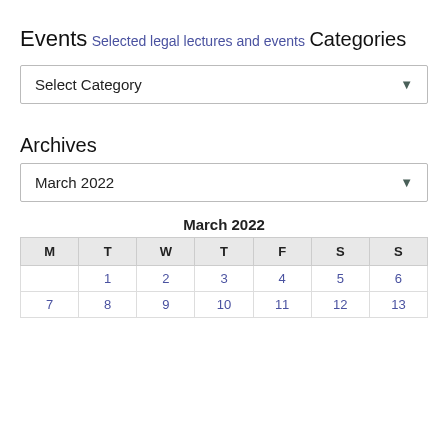Events
Selected legal lectures and events
Categories
Select Category
Archives
March 2022
| M | T | W | T | F | S | S |
| --- | --- | --- | --- | --- | --- | --- |
|  | 1 | 2 | 3 | 4 | 5 | 6 |
| 7 | 8 | 9 | 10 | 11 | 12 | 13 |